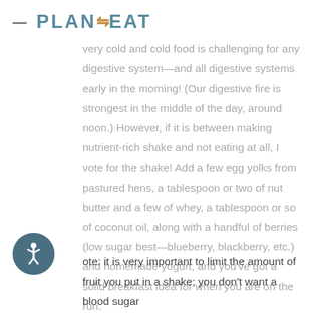= PLAN EAT
ment of shakes for breakfast, as they are very cold and cold food is challenging for any digestive system—and all digestive systems early in the morning! (Our digestive fire is strongest in the middle of the day, around noon.) However, if it is between making nutrient-rich shake and not eating at all, I vote for the shake! Add a few egg yolks from pastured hens, a tablespoon or two of nut butter and a few of whey, a tablespoon or so of coconut oil, along with a handful of berries (low sugar best—blueberry, blackberry, etc.) and homemade yogurt, and you've got a solid breakfast idea for when you are on the run.
ote: it is very important to limit the amount of fruit you put in a shake; you don't want a blood sugar